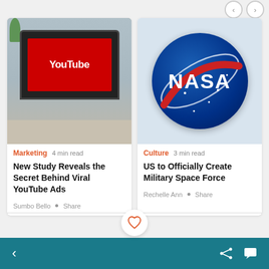[Figure (photo): Laptop with YouTube logo on screen, on a desk]
Marketing  4 min read
New Study Reveals the Secret Behind Viral YouTube Ads
Sumbo Bello • Share
[Figure (photo): NASA logo — blue circle with NASA text and red swoosh]
Culture  3 min read
US to Officially Create Military Space Force
Rechelle Ann • Share
< (back arrow)  (heart icon)  (share icon)  (message icon)